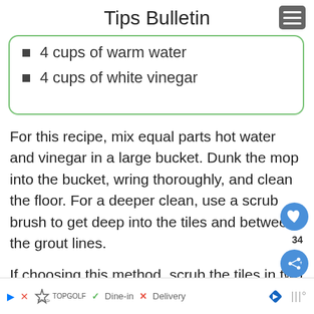Tips Bulletin
4 cups of warm water
4 cups of white vinegar
For this recipe, mix equal parts hot water and vinegar in a large bucket. Dunk the mop into the bucket, wring thoroughly, and clean the floor. For a deeper clean, use a scrub brush to get deep into the tiles and between the grout lines.
If choosing this method, scrub the tiles in two square feet of space at a time. This way, you
Topgolf  ✓ Dine-in  ✗ Delivery